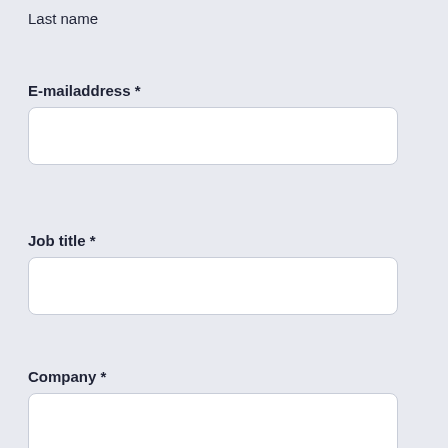Last name
E-mailaddress *
Job title *
Company *